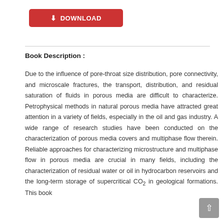[Figure (other): Red download button with download icon and text 'DOWNLOAD']
Book Description :
Due to the influence of pore-throat size distribution, pore connectivity, and microscale fractures, the transport, distribution, and residual saturation of fluids in porous media are difficult to characterize. Petrophysical methods in natural porous media have attracted great attention in a variety of fields, especially in the oil and gas industry. A wide range of research studies have been conducted on the characterization of porous media covers and multiphase flow therein. Reliable approaches for characterizing microstructure and multiphase flow in porous media are crucial in many fields, including the characterization of residual water or oil in hydrocarbon reservoirs and the long-term storage of supercritical CO2 in geological formations. This book